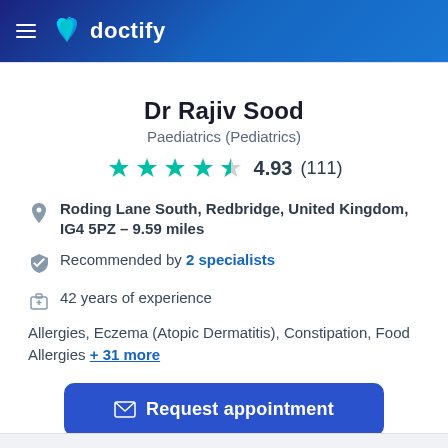[Figure (logo): Doctify logo with teal apple/heart icon and white 'doctify' text on dark blue gradient header bar]
Dr Rajiv Sood
Paediatrics (Pediatrics)
[Figure (infographic): 5 teal stars rating display showing 4.93 (111) reviews]
Roding Lane South, Redbridge, United Kingdom, IG4 5PZ – 9.59 miles
Recommended by 2 specialists
42 years of experience
Allergies, Eczema (Atopic Dermatitis), Constipation, Food Allergies + 31 more
Request appointment